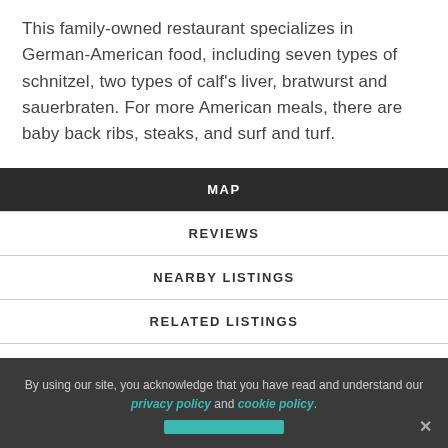This family-owned restaurant specializes in German-American food, including seven types of schnitzel, two types of calf's liver, bratwurst and sauerbraten. For more American meals, there are baby back ribs, steaks, and surf and turf.
MAP
REVIEWS
NEARBY LISTINGS
RELATED LISTINGS
By using our site, you acknowledge that you have read and understand our privacy policy and cookie policy.